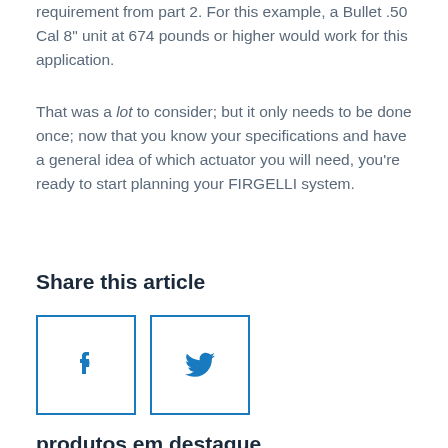requirement from part 2. For this example, a Bullet .50 Cal 8" unit at 674 pounds or higher would work for this application.
That was a lot to consider; but it only needs to be done once; now that you know your specifications and have a general idea of which actuator you will need, you're ready to start planning your FIRGELLI system.
Share this article
[Figure (illustration): Two social media share buttons side by side: Facebook (f icon) and Twitter (bird icon), each in a square border box.]
produtos em destaque